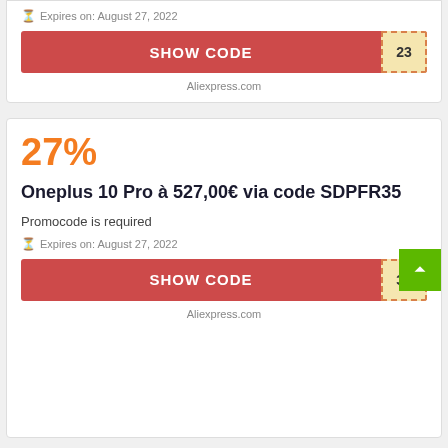Expires on: August 27, 2022
SHOW CODE 23
Aliexpress.com
27%
Oneplus 10 Pro à 527,00€ via code SDPFR35
Promocode is required
Expires on: August 27, 2022
SHOW CODE 35
Aliexpress.com